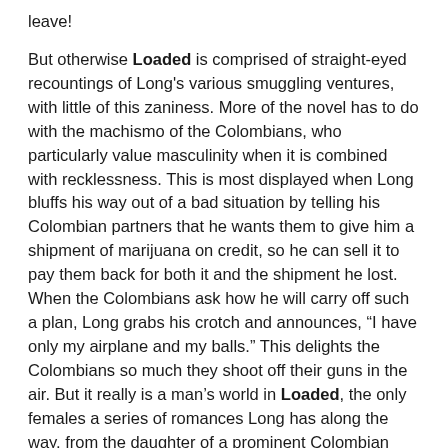leave!
But otherwise Loaded is comprised of straight-eyed recountings of Long's various smuggling ventures, with little of this zaniness. More of the novel has to do with the machismo of the Colombians, who particularly value masculinity when it is combined with recklessness. This is most displayed when Long bluffs his way out of a bad situation by telling his Colombian partners that he wants them to give him a shipment of marijuana on credit, so he can sell it to pay them back for both it and the shipment he lost. When the Colombians ask how he will carry off such a plan, Long grabs his crotch and announces, “I have only my airplane and my balls.” This delights the Colombians so much they shoot off their guns in the air. But it really is a man’s world in Loaded, the only females a series of romances Long has along the way, from the daughter of a prominent Colombian smuggler to a swingin’ American chick whose pubic hair is trimmed into the shape of a heart – I really wanted to know more about her in particular, but the sleaze quotient is nil, more’s the pity. Again, the book is the product of the ‘00s, not the ‘70s.